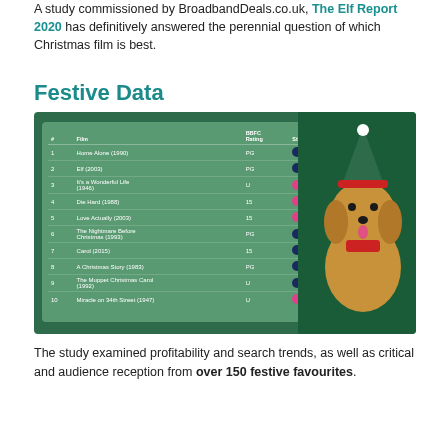A study commissioned by BroadbandDeals.co.uk, The Elf Report 2020 has definitively answered the perennial question of which Christmas film is best.
Festive Data
[Figure (table-as-image): Ranking table of top 10 Christmas films with columns: #, Film, BBFC Rating, Streamability, Audience Rating, Critics Rating, Elf Score, Final Score. Rankings: 1 Home Alone (1990) PG - 81 64 127 123; 2 Elf (2003) PG - 78 74 100 96; 3 It's a Wonderful Life (1946) U - 91 92 13 52; 4 Die Hard (1988) 15 - 78 83 56 78; 5 Love Actually (2003) 15 - 78 60 84 74; 6 The Nightmare Before Christmas (1993) PG - 89 89 36 71; 7 Carol (2015) 15 - 75 94 84 70; 8 A Christmas Story (1983) PG - 84 83 16 47; 9 The Muppet Christmas Carol (1992) U - 81 70 32 65; 10 Miracle on 34th Street (1947) U - 84 92 11 63. Accompanied by a photo of a small dog wearing a Christmas elf costume.]
The study examined profitability and search trends, as well as critical and audience reception from over 150 festive favourites.